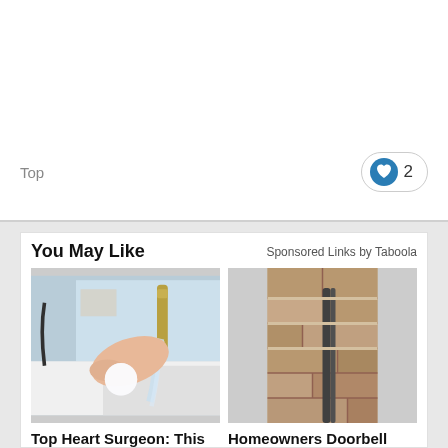Top
[Figure (other): Heart/like button with count 2]
You May Like
Sponsored Links by Taboola
[Figure (photo): Photo of a hand holding a soap ball under running water from a kitchen faucet]
Top Heart Surgeon: This Simple Trick Helps Empty Your Bowels Every Morning
Gundry MD Bio Complete 3 Supplement
[Figure (photo): Photo of a doorbell camera mounted on a stone/stucco wall]
Homeowners Doorbell Cam
Camerca